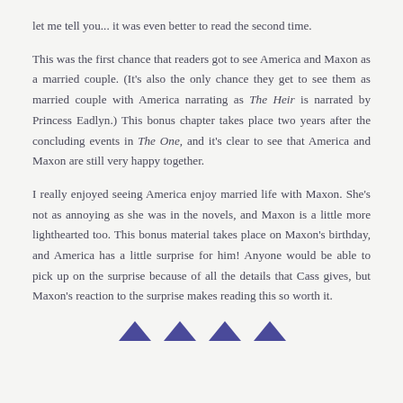let me tell you... it was even better to read the second time.
This was the first chance that readers got to see America and Maxon as a married couple. (It's also the only chance they get to see them as married couple with America narrating as The Heir is narrated by Princess Eadlyn.) This bonus chapter takes place two years after the concluding events in The One, and it's clear to see that America and Maxon are still very happy together.
I really enjoyed seeing America enjoy married life with Maxon. She's not as annoying as she was in the novels, and Maxon is a little more lighthearted too. This bonus material takes place on Maxon's birthday, and America has a little surprise for him! Anyone would be able to pick up on the surprise because of all the details that Cass gives, but Maxon's reaction to the surprise makes reading this so worth it.
[Figure (illustration): Four small decorative purple/dark-blue triangle shapes arranged in a row at the bottom of the page.]